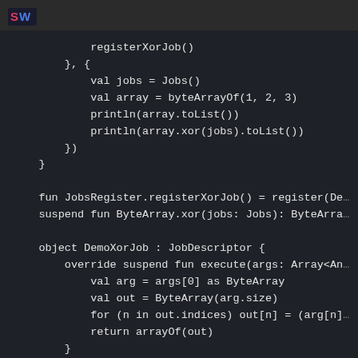[Figure (logo): SW logo in red/blue on dark background]
registerXorJob()
    }, {
        val jobs = Jobs()
        val array = byteArrayOf(1, 2, 3)
        println(array.toList())
        println(array.xor(jobs).toList())
    })
}

fun JobsRegister.registerXorJob() = register(De
suspend fun ByteArray.xor(jobs: Jobs): ByteArra

object DemoXorJob : JobDescriptor {
    override suspend fun execute(args: Array<An
        val arg = args[0] as ByteArray
        val out = ByteArray(arg.size)
        for (n in out.indices) out[n] = (arg[n]
        return arrayOf(out)
    }
}